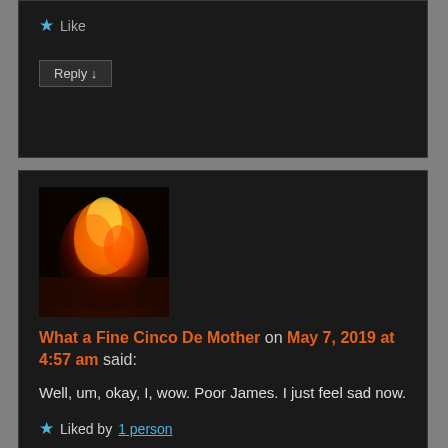[Figure (screenshot): Top comment box partial — Like and Reply buttons visible]
[Figure (photo): Explosion avatar image — fireball with orange and red tones]
What a Fine Cinco De Mother on May 7, 2019 at 4:57 am said:
Well, um, okay, I, wow. Poor James. I just feel sad now.
Liked by 1 person
Reply ↓
[Figure (illustration): Colorful cartoon character avatar for Rhythm]
Rhythm on May 7, 2019 at 12:58 pm said: